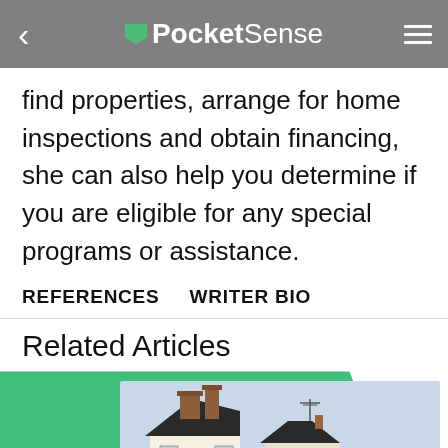PocketSense
find properties, arrange for home inspections and obtain financing, she can also help you determine if you are eligible for any special programs or assistance.
REFERENCES   WRITER BIO
Related Articles
[Figure (photo): Photo of a house with brick chimneys and dark roof against a light sky background, shown as a related article card with green accent background.]